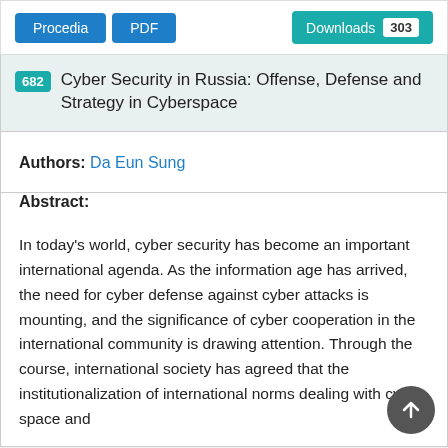Procedia  PDF  Downloads 303
682 Cyber Security in Russia: Offense, Defense and Strategy in Cyberspace
Authors: Da Eun Sung
Abstract:
In today's world, cyber security has become an important international agenda. As the information age has arrived, the need for cyber defense against cyber attacks is mounting, and the significance of cyber cooperation in the international community is drawing attention. Through the course, international society has agreed that the institutionalization of international norms dealing with cyber space and